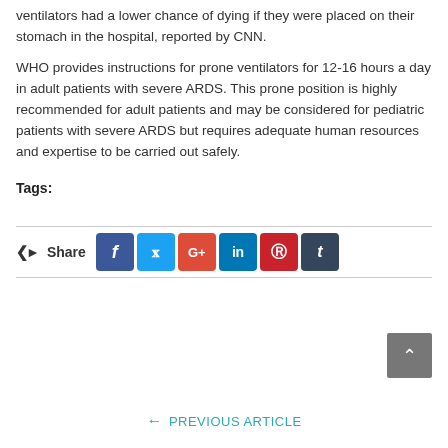ventilators had a lower chance of dying if they were placed on their stomach in the hospital, reported by CNN.
WHO provides instructions for prone ventilators for 12-16 hours a day in adult patients with severe ARDS. This prone position is highly recommended for adult patients and may be considered for pediatric patients with severe ARDS but requires adequate human resources and expertise to be carried out safely.
Tags:
[Figure (infographic): Social share bar with Facebook, Twitter, Google+, LinkedIn, Pinterest, and Tumblr buttons, plus a Share label with icon]
← PREVIOUS ARTICLE